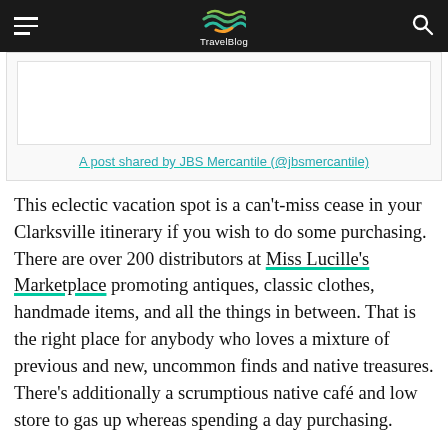TravelBlog
A post shared by JBS Mercantile (@jbsmercantile)
This eclectic vacation spot is a can't-miss cease in your Clarksville itinerary if you wish to do some purchasing. There are over 200 distributors at Miss Lucille's Marketplace promoting antiques, classic clothes, handmade items, and all the things in between. That is the right place for anybody who loves a mixture of previous and new, uncommon finds and native treasures. There's additionally a scrumptious native café and low store to gas up whereas spending a day purchasing.
2. Courtney's Artistic Palette+